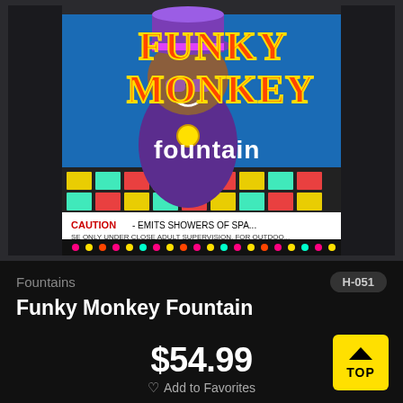[Figure (photo): Product photo of Funky Monkey Fountain firework package — colorful box with cartoon monkey character in purple hat, disco ball background, 'FUNKY MONKEY fountain' text, caution label at bottom]
Fountains
H-051
Funky Monkey Fountain
[Figure (illustration): Color swatch / intensity icons: two half-diamond icons and four colored circles (yellow, red/orange, dark red, dark red/maroon)]
$54.99
♡ Add to Favorites